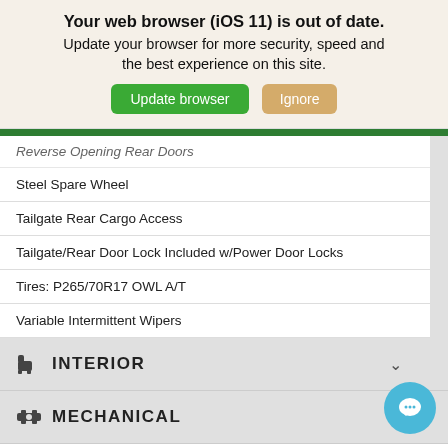Your web browser (iOS 11) is out of date. Update your browser for more security, speed and the best experience on this site. [Update browser] [Ignore]
Reverse Opening Rear Doors
Steel Spare Wheel
Tailgate Rear Cargo Access
Tailgate/Rear Door Lock Included w/Power Door Locks
Tires: P265/70R17 OWL A/T
Variable Intermittent Wipers
INTERIOR
MECHANICAL